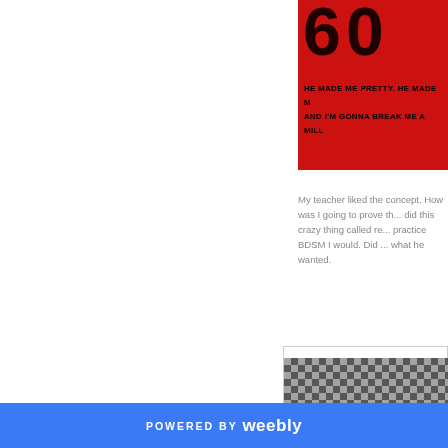[Figure (photo): Cropped image with red background showing partial bold text: 'HE MADE ME PRETTY. HE MADE M...' and 'AND I'M GONNA BREAK ME A MIL...' in black lettering on red]
My teacher liked the concept. How was I going to prove th... did this crazy thing called re... practice BDSM I would. Did ... what he wanted.
[Figure (photo): Close-up photo of a decorated high-heel shoe with black and silver jeweled/mosaic upper and ornate golden/beige lower platform]
POWERED BY weebly